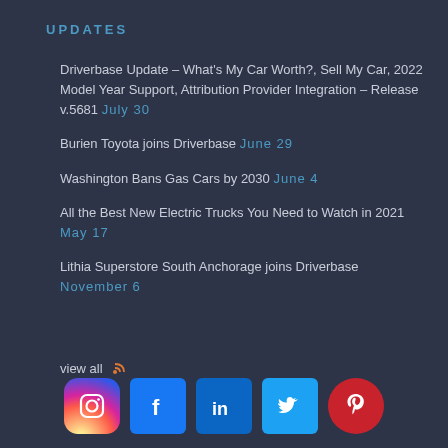UPDATES
Driverbase Update – What's My Car Worth?, Sell My Car, 2022 Model Year Support, Attribution Provider Integration – Release v.5681 July 30
Burien Toyota joins Driverbase June 29
Washington Bans Gas Cars by 2030 June 4
All the Best New Electric Trucks You Need to Watch in 2021 May 17
Lithia Superstore South Anchorage joins Driverbase November 6
view all
[Figure (infographic): Row of 5 social media icons: Instagram, Facebook, LinkedIn, Twitter, Pinterest]